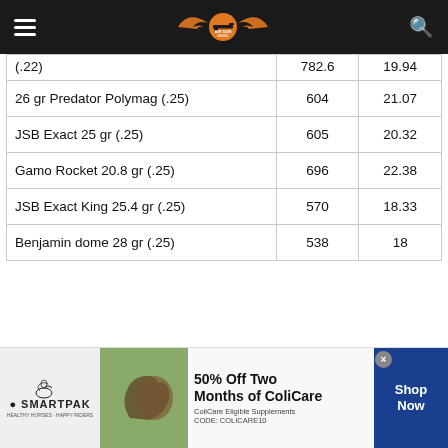Air Gun Maniac navigation bar
|  |  |  |
| --- | --- | --- |
| (.22) | 782.6 | 19.94 |
| 26 gr Predator Polymag (.25) | 604 | 21.07 |
| JSB Exact 25 gr (.25) | 605 | 20.32 |
| Gamo Rocket 20.8 gr (.25) | 696 | 22.38 |
| JSB Exact King 25.4 gr (.25) | 570 | 18.33 |
| Benjamin dome 28 gr (.25) | 538 | 18 |
[Figure (infographic): SmartPak advertisement: 50% Off Two Months of ColiCare, ColiCare Eligible Supplements, CODE: COLICARE10, Shop Now button]